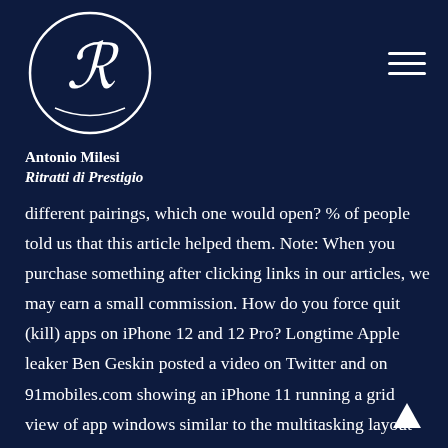[Figure (logo): Circular logo with stylized LR monogram and decorative flourishes for Antonio Milesi Ritratti di Prestigio]
Antonio Milesi
Ritratti di Prestigio
different pairings, which one would open? % of people told us that this article helped them. Note: When you purchase something after clicking links in our articles, we may earn a small commission. How do you force quit (kill) apps on iPhone 12 and 12 Pro? Longtime Apple leaker Ben Geskin posted a video on Twitter and on 91mobiles.com showing an iPhone 11 running a grid view of app windows similar to the multitasking layout on the existing iPadOS. Apps can only be paired a single time—if I want Safari to ride along with a couple of different apps in Split View, I can't. This will display your recently used apps on... Next, tap on Multitasking. Find your second app. The iPhone 12 retains the edge-to-edge